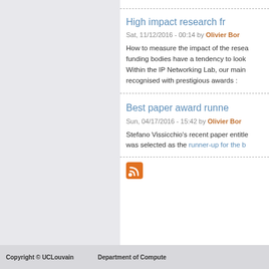High impact research fr
Sat, 11/12/2016 - 00:14 by Olivier Bor
How to measure the impact of the resea funding bodies have a tendency to look Within the IP Networking Lab, our main recognised with prestigious awards :
Best paper award runne
Sun, 04/17/2016 - 15:42 by Olivier Bor
Stefano Vissicchio's recent paper entitled was selected as the runner-up for the b
[Figure (other): RSS feed icon - orange square with RSS symbol]
Copyright © UCLouvain    Department of Compute